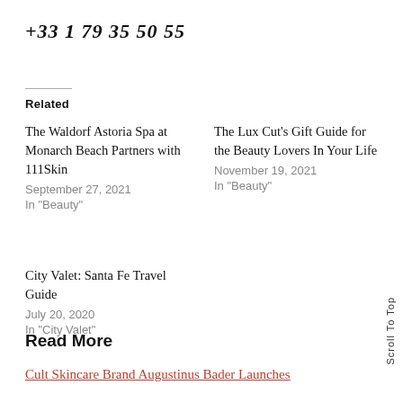+33 1 79 35 50 55
Related
The Waldorf Astoria Spa at Monarch Beach Partners with 111Skin
September 27, 2021
In "Beauty"
The Lux Cut's Gift Guide for the Beauty Lovers In Your Life
November 19, 2021
In "Beauty"
City Valet: Santa Fe Travel Guide
July 20, 2020
In "City Valet"
Read More
Cult Skincare Brand Augustinus Bader Launches
Scroll To Top